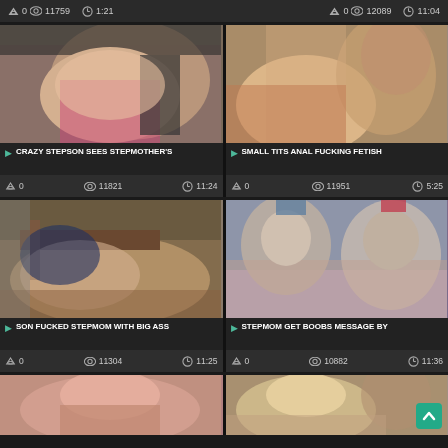Top bar with stats: 0 views 11759, 1:21 | 0 views 12089, 11:04
[Figure (photo): Woman in black dress from behind on bed]
CRAZY STEPSON SEES STEPMOTHER'S
0  11821  11:24
[Figure (photo): Two people in sexual activity on bed]
SMALL TITS ANAL FUCKING FETISH
0  11951  5:25
[Figure (photo): Woman face down on bed]
SON FUCKED STEPMOM WITH BIG ASS
0  11304  11:25
[Figure (photo): Two elderly people in sexual activity]
STEPMOM GET BOOBS MESSAGE BY
0  10882  11:36
[Figure (photo): Young woman face partially visible]
[Figure (photo): Blonde woman smiling, another person visible]